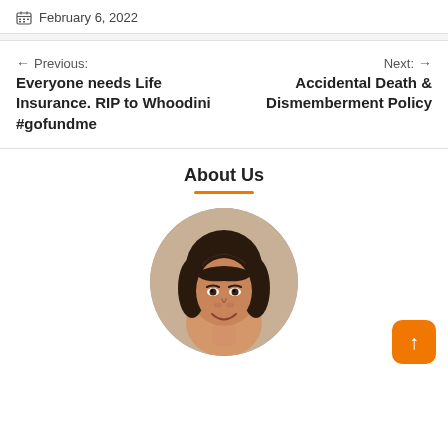February 6, 2022
Previous:
Everyone needs Life Insurance. RIP to Whoodini #gofundme
Next:
Accidental Death & Dismemberment Policy
About Us
[Figure (photo): Circular profile photo of a woman with a dark bob haircut and bangs, smiling, facing the camera.]